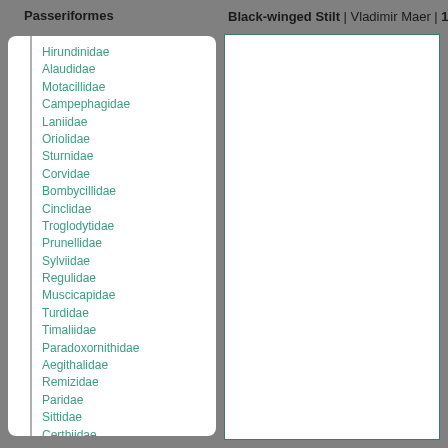Passeriformes
Hirundinidae
Alaudidae
Motacillidae
Campephagidae
Laniidae
Oriolidae
Sturnidae
Corvidae
Bombycillidae
Cinclidae
Troglodytidae
Prunellidae
Sylviidae
Regulidae
Muscicapidae
Turdidae
Timaliidae
Paradoxornithidae
Aegithalidae
Remizidae
Paridae
Sittidae
Certhiidae
Ploceidae
Fringillidae
Emberizidae
Black-winged Stilt | Vladimir Maer | 11
[Figure (photo): White rectangular photo area with teal border on the right side of the page]